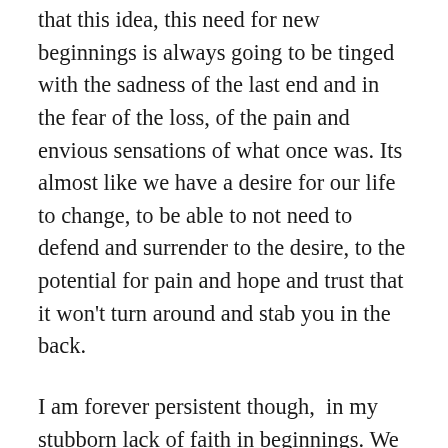that this idea, this need for new beginnings is always going to be tinged with the sadness of the last end and in the fear of the loss, of the pain and envious sensations of what once was. Its almost like we have a desire for our life to change, to be able to not need to defend and surrender to the desire, to the potential for pain and hope and trust that it won't turn around and stab you in the back.
I am forever persistent though,  in my stubborn lack of faith in beginnings. We have all, in our own way, fought for domination over our own thoughts. We have hoped for new beginnings to be different, for things to change again and again to be left only with the sorrowful sensation left by an ending. It makes you wander about whether beginnings and the brilliance they can bring are worth the pain of their end. This obsessive awareness, this battle, that voice